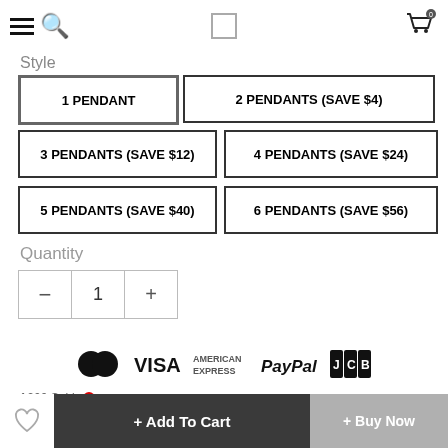Navigation header with hamburger menu, search, logo placeholder, and cart (0)
Style
1 PENDANT (selected)
2 PENDANTS (SAVE $4)
3 PENDANTS (SAVE $12)
4 PENDANTS (SAVE $24)
5 PENDANTS (SAVE $40)
6 PENDANTS (SAVE $56)
Quantity
[Figure (other): Quantity stepper control showing minus button, value 1, plus button]
[Figure (other): Payment method logos: Mastercard, VISA, American Express, PayPal, JCB]
of 200 Sold
+ Add To Cart
+ Buy Now